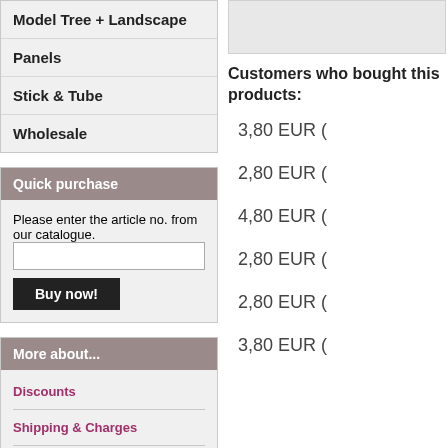Model Tree + Landscape
Panels
Stick & Tube
Wholesale
Quick purchase
Please enter the article no. from our catalogue.
More about...
Discounts
Shipping & Charges
Sitemap
[Figure (other): Gray placeholder image top right]
Customers who bought this products:
3,80 EUR (
2,80 EUR (
4,80 EUR (
2,80 EUR (
2,80 EUR (
3,80 EUR (